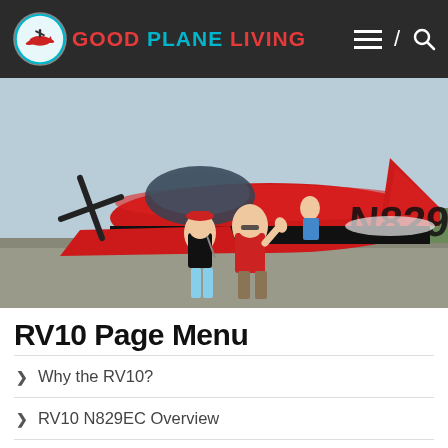Good Plane Living — navigation header with logo, hamburger menu, and search icon
[Figure (photo): Two people standing in front of a red RV-10 airplane with tail number N829EC at an airshow or airport. A child is visible in the background. The aircraft is red and black.]
RV10 Page Menu
Why the RV10?
RV10 N829EC Overview
Panel and Avionics
My Modifications (partial)